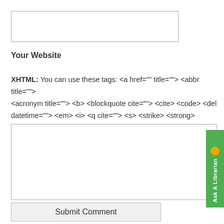[Figure (screenshot): Empty text input box for website URL entry]
Your Website
XHTML: You can use these tags: <a href="" title=""> <abbr title=""> <acronym title=""> <b> <blockquote cite=""> <cite> <code> <del datetime=""> <em> <i> <q cite=""> <s> <strike> <strong>
[Figure (screenshot): Large empty textarea for comment input]
[Figure (screenshot): Green Ask A Librarian button on right side]
Submit Comment